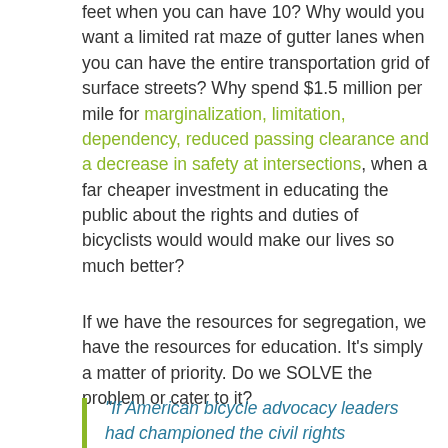feet when you can have 10? Why would you want a limited rat maze of gutter lanes when you can have the entire transportation grid of surface streets? Why spend $1.5 million per mile for marginalization, limitation, dependency, reduced passing clearance and a decrease in safety at intersections, when a far cheaper investment in educating the public about the rights and duties of bicyclists would would make our lives so much better?
If we have the resources for segregation, we have the resources for education. It's simply a matter of priority. Do we SOLVE the problem or cater to it?
“If American bicycle advocacy leaders had championed the civil rights movement, the “Dream” would have been reserved seating in the back of